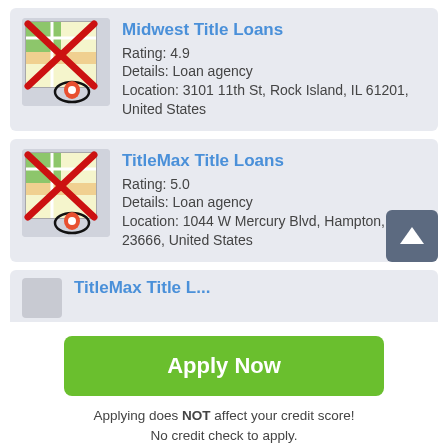[Figure (other): Listing card for Midwest Title Loans with a map icon crossed out with red X]
Midwest Title Loans
Rating: 4.9
Details: Loan agency
Location: 3101 11th St, Rock Island, IL 61201, United States
[Figure (other): Listing card for TitleMax Title Loans with a map icon crossed out with red X]
TitleMax Title Loans
Rating: 5.0
Details: Loan agency
Location: 1044 W Mercury Blvd, Hampton, VA 23666, United States
[Figure (other): Partial listing card showing TitleMax Title Loans (truncated)]
Apply Now
Applying does NOT affect your credit score! No credit check to apply.